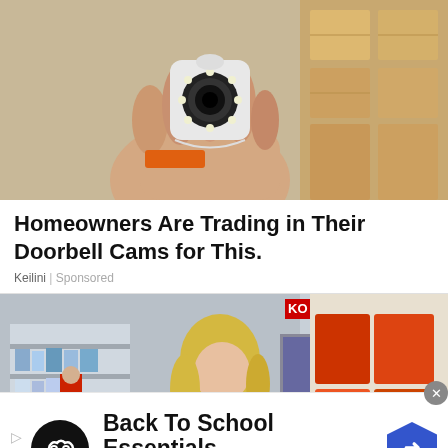[Figure (photo): Hand holding a small white security/surveillance camera with multiple LEDs around the lens, with cardboard boxes in background]
Homeowners Are Trading in Their Doorbell Cams for This.
Keilini | Sponsored
[Figure (photo): Woman with blonde hair in a black outfit posing in a store aisle (appears to be Costco or similar warehouse store), with store shelves and another shopper visible in background]
[Figure (infographic): Advertisement banner for Back To School Essentials at Leesburg Premium Outlets, featuring a black circular logo with chain link icon and a blue hexagonal arrow icon]